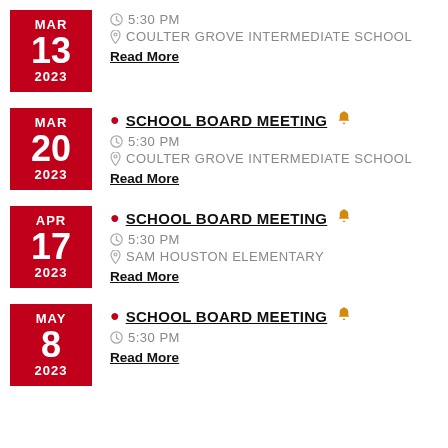MAR 13 2023 — 5:30 PM — COULTER GROVE INTERMEDIATE SCHOOL — Read More
SCHOOL BOARD MEETING — MAR 20 2023 — 5:30 PM — COULTER GROVE INTERMEDIATE SCHOOL — Read More
SCHOOL BOARD MEETING — APR 17 2023 — 5:30 PM — SAM HOUSTON ELEMENTARY — Read More
SCHOOL BOARD MEETING — MAY 8 2023 — 5:30 PM — Read More